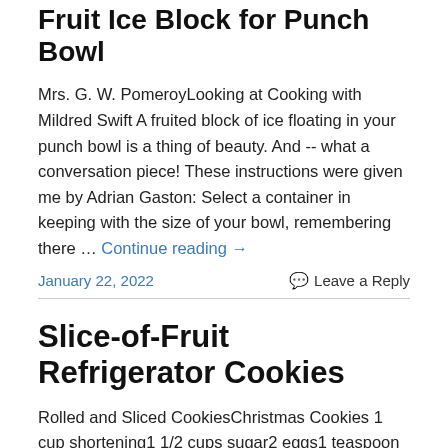Fruit Ice Block for Punch Bowl
Mrs. G. W. PomeroyLooking at Cooking with Mildred Swift A fruited block of ice floating in your punch bowl is a thing of beauty. And -- what a conversation piece! These instructions were given me by Adrian Gaston: Select a container in keeping with the size of your bowl, remembering there … Continue reading →
January 22, 2022    Leave a Reply
Slice-of-Fruit Refrigerator Cookies
Rolled and Sliced CookiesChristmas Cookies 1 cup shortening1 1/2 cups sugar2 eggs1 teaspoon vanilla extract3 tablespoons lemon juice1/4 cup plus 3